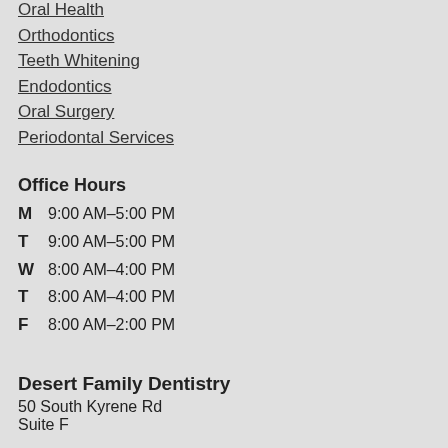Oral Health
Orthodontics
Teeth Whitening
Endodontics
Oral Surgery
Periodontal Services
Office Hours
M  9:00 AM–5:00 PM
T  9:00 AM–5:00 PM
W  8:00 AM–4:00 PM
T  8:00 AM–4:00 PM
F  8:00 AM–2:00 PM
Desert Family Dentistry
50 South Kyrene Rd
Suite F